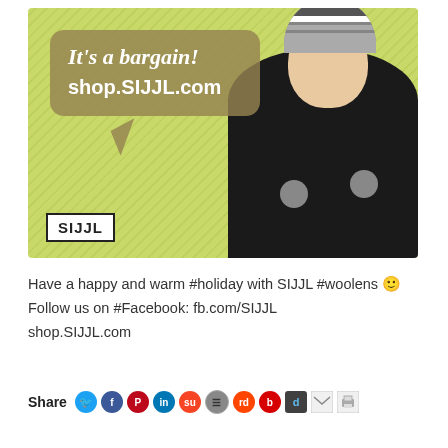[Figure (illustration): Advertisement image with yellow-green diagonal striped background, speech bubble saying 'It's a bargain! shop.SIJJL.com', a woman wearing a knit winter hat with earflaps and pom poms, and SIJJL brand box in lower left.]
Have a happy and warm #holiday with SIJJL #woolens 🙂
Follow us on #Facebook: fb.com/SIJJL
shop.SIJJL.com
Share